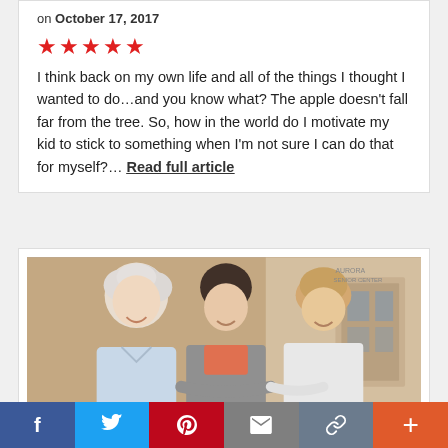on October 17, 2017
[Figure (other): Five red star rating icons]
I think back on my own life and all of the things I thought I wanted to do...and you know what? The apple doesn't fall far from the tree. So, how in the world do I motivate my kid to stick to something when I'm not sure I can do that for myself?... Read full article
[Figure (photo): Three women posing together indoors, smiling at the camera. An elderly woman with white curly hair on the left, a middle-aged woman with dark hair in the center, and a younger woman with light hair on the right. Background shows an interior hallway.]
f  Twitter  Pinterest  Email  Link  +